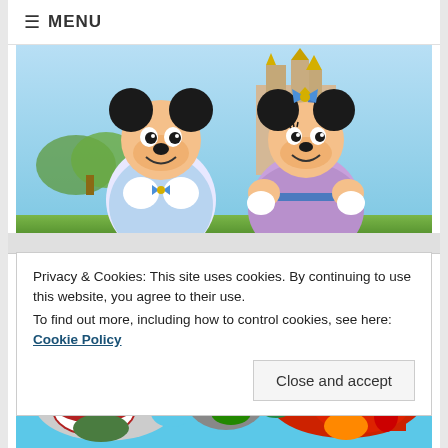☰ MENU
[Figure (photo): Mickey Mouse and Minnie Mouse characters in celebratory outfits standing in front of Cinderella Castle at Walt Disney World. Mickey wears a light blue and white suit with a bow tie; Minnie wears a purple and blue sparkly dress with a gold crown bow.]
Privacy & Cookies: This site uses cookies. By continuing to use this website, you agree to their use.
To find out more, including how to control cookies, see here: Cookie Policy
Close and accept
[Figure (map): World map with countries shown in their national flag colors on a blue ocean background, showing North America, Europe, Africa, and Asia.]